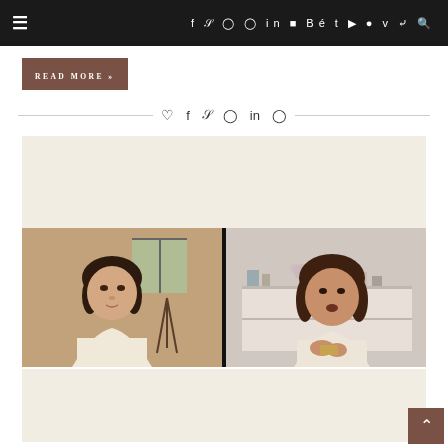≡  f  y  ©  ℗  in  ⬛  Bē  t  ▶  ⬤  v  ↝  🔍
READ MORE »
♡  f  y  ℗  in  ©
[Figure (screenshot): Split-screen video call showing two women. Left: woman with dark hair in cream wrap sitting indoors with window and easel behind her. Right: woman with brown wavy hair in cream wrap sitting in front of shelving unit with decor.]
▲